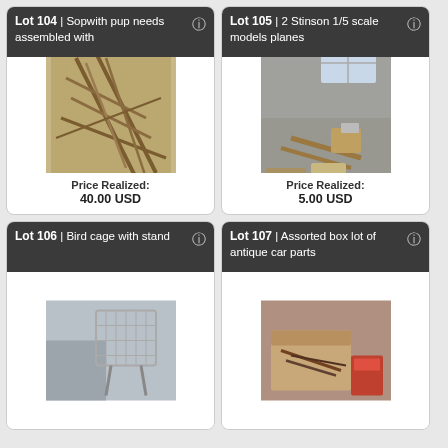Lot 104 | Sopwith pup needs assembled with
[Figure (photo): Wooden model airplane frame parts piled together, unassembled]
Price Realized: 40.00 USD
Lot 105 | 2 Stinson 1/5 scale models planes
[Figure (photo): Wooden model airplane parts in a basement setting]
Price Realized: 5.00 USD
Lot 106 | Bird cage with stand
[Figure (photo): Bird cage with stand in a room]
Lot 107 | Assorted box lot of antique car parts
[Figure (photo): Box with assorted antique car parts]